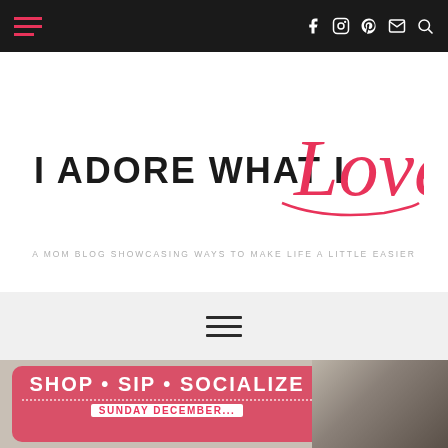Navigation bar with hamburger menu and social icons
I ADORE WHAT I Love
A MOM BLOG SHOWCASING WAYS TO MAKE LIFE A LITTLE EASIER
Menu
[Figure (screenshot): Bottom promo image showing pink banner with 'SHOP • SIP • SOCIALIZE' text and dotted border, with 'SUNDAY DECEMBER...' text below, and a photo of an event venue on the right]